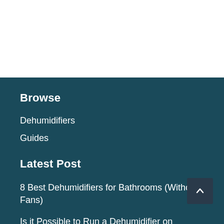Browse
Dehumidifiers
Guides
Latest Post
8 Best Dehumidifiers for Bathrooms (Without Fans)
Is it Possible to Run a Dehumidifier on